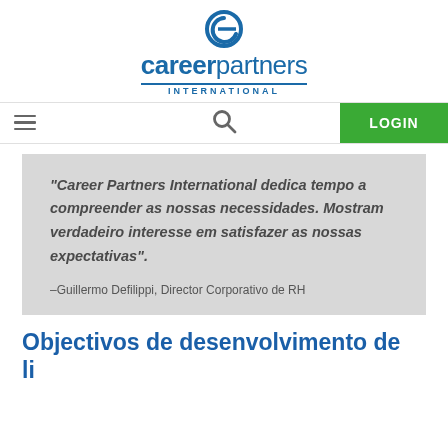[Figure (logo): Career Partners International logo with stylized 'e' icon and text 'careerpartners INTERNATIONAL']
"Career Partners International dedica tempo a compreender as nossas necessidades. Mostram verdadeiro interesse em satisfazer as nossas expectativas".
-Guillermo Defilippi, Director Corporativo de RH
Objectivos de desenvolvimento de liderança